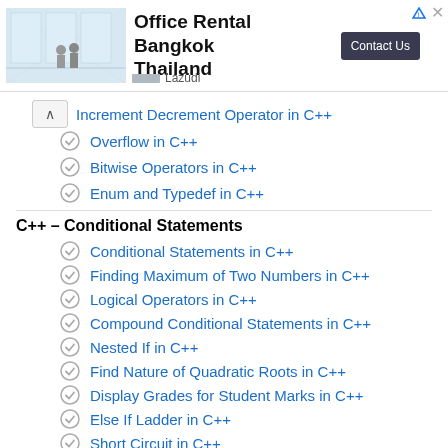[Figure (infographic): Advertisement banner for Office Rental Bangkok Thailand by Lazudi with a Contact Us button]
Increment Decrement Operator in C++
Overflow in C++
Bitwise Operators in C++
Enum and Typedef in C++
C++ – Conditional Statements
Conditional Statements in C++
Finding Maximum of Two Numbers in C++
Logical Operators in C++
Compound Conditional Statements in C++
Nested If in C++
Find Nature of Quadratic Roots in C++
Display Grades for Student Marks in C++
Else If Ladder in C++
Short Circuit in C++